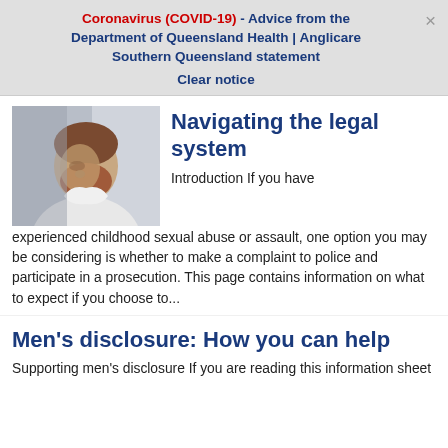Coronavirus (COVID-19) - Advice from the Department of Queensland Health | Anglicare Southern Queensland statement
Clear notice
[Figure (photo): A bearded man looking downward, wearing a white shirt, photographed from the side]
Navigating the legal system
Introduction If you have experienced childhood sexual abuse or assault, one option you may be considering is whether to make a complaint to police and participate in a prosecution. This page contains information on what to expect if you choose to...
Men's disclosure: How you can help
Supporting men's disclosure If you are reading this information sheet